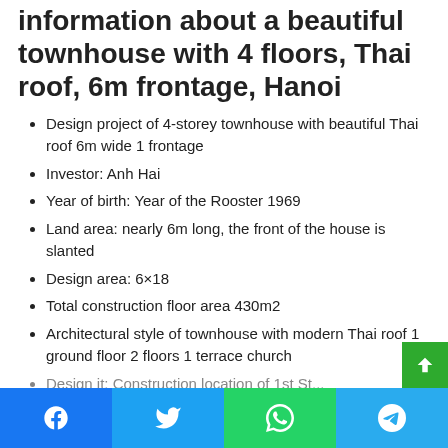information about a beautiful townhouse with 4 floors, Thai roof, 6m frontage, Hanoi
Design project of 4-storey townhouse with beautiful Thai roof 6m wide 1 frontage
Investor: Anh Hai
Year of birth: Year of the Rooster 1969
Land area: nearly 6m long, the front of the house is slanted
Design area: 6×18
Total construction floor area 430m2
Architectural style of townhouse with modern Thai roof 1 ground floor 2 floors 1 terrace church
Design it: Construction location of 1st Studio...